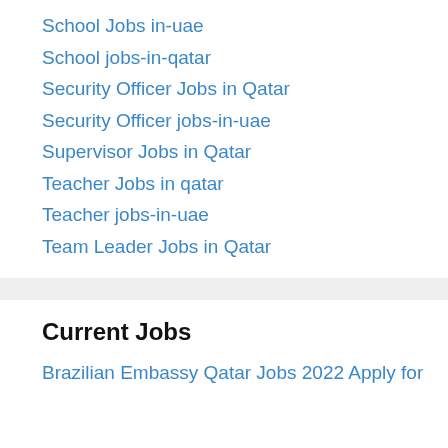School Jobs in-uae
School jobs-in-qatar
Security Officer Jobs in Qatar
Security Officer jobs-in-uae
Supervisor Jobs in Qatar
Teacher Jobs in qatar
Teacher jobs-in-uae
Team Leader Jobs in Qatar
Current Jobs
Brazilian Embassy Qatar Jobs 2022 Apply for